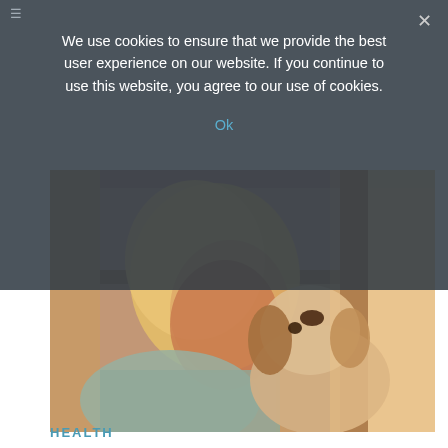[Figure (photo): An older blonde woman leaning in close to a beagle dog she is holding, in front of a large window with warm light coming through.]
We use cookies to ensure that we provide the best user experience on our website. If you continue to use this website, you agree to our use of cookies.
Ok
HEALTH